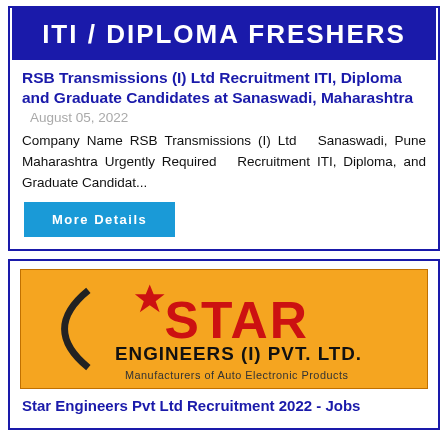[Figure (illustration): Banner image with dark blue background showing text 'ITI / DIPLOMA FRESHERS' in white bold letters]
RSB Transmissions (I) Ltd Recruitment ITI, Diploma and Graduate Candidates at Sanaswadi, Maharashtra
August 05, 2022
Company Name RSB Transmissions (I) Ltd Sanaswadi, Pune Maharashtra Urgently Required Recruitment ITI, Diploma, and Graduate Candidat...
More Details
[Figure (logo): Star Engineers (I) Pvt. Ltd. logo on orange background with text 'Manufacturers of Auto Electronic Products']
Star Engineers Pvt Ltd Recruitment 2022 - Jobs